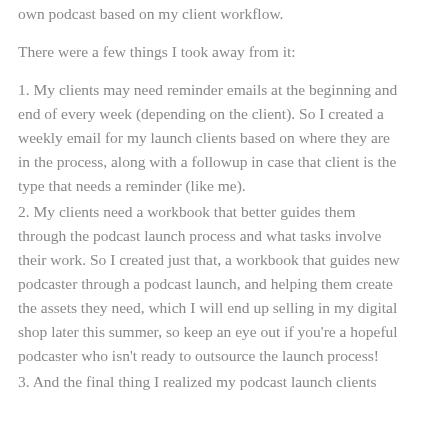own podcast based on my client workflow.
There were a few things I took away from it:
1. My clients may need reminder emails at the beginning and end of every week (depending on the client). So I created a weekly email for my launch clients based on where they are in the process, along with a followup in case that client is the type that needs a reminder (like me).
2. My clients need a workbook that better guides them through the podcast launch process and what tasks involve their work. So I created just that, a workbook that guides new podcaster through a podcast launch, and helping them create the assets they need, which I will end up selling in my digital shop later this summer, so keep an eye out if you're a hopeful podcaster who isn't ready to outsource the launch process!
3. And the final thing I realized my podcast launch clients